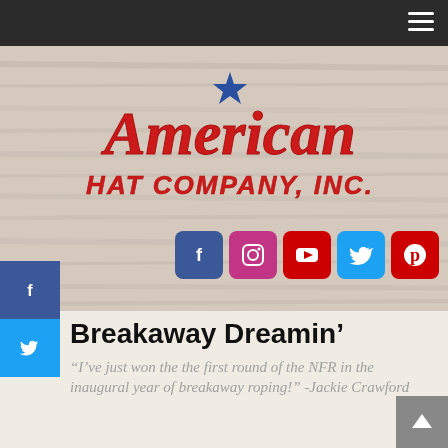American Hat Company, Inc. — navigation bar
[Figure (logo): American Hat Company, Inc. logo in red script lettering with blue star, on wood-grain background]
[Figure (infographic): Social media icon buttons row: Facebook, Instagram, YouTube, Twitter, Pinterest]
Breakaway Dreamin'
“I’ve just won the the first round of the NFR in the inaugural year of breakaway roping!” -Jackie Crawford